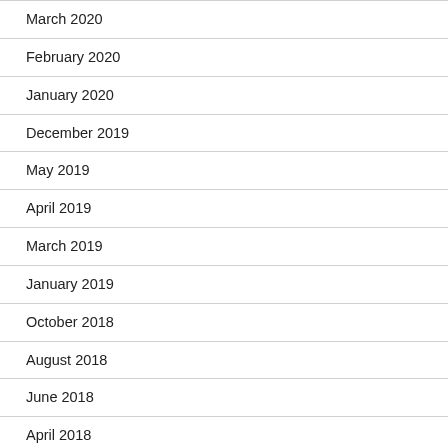March 2020
February 2020
January 2020
December 2019
May 2019
April 2019
March 2019
January 2019
October 2018
August 2018
June 2018
April 2018
March 2018